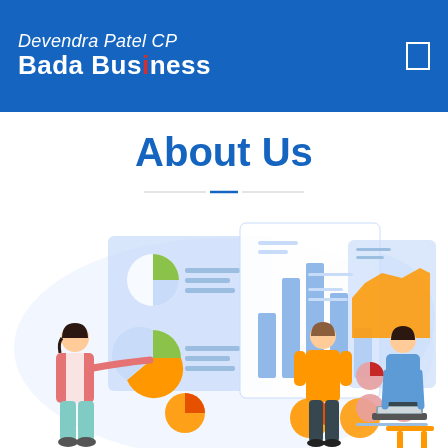Devendra Patel CP Bada Business
About Us
[Figure (illustration): Business analytics illustration with three people examining charts and dashboards including pie charts, bar charts, and area charts on presentation boards]